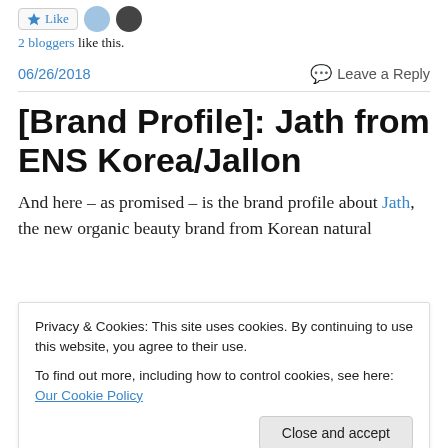[Figure (other): Like button with star icon and two blogger avatar thumbnails]
2 bloggers like this.
06/26/2018
Leave a Reply
[Brand Profile]: Jath from ENS Korea/Jallon
And here – as promised – is the brand profile about Jath, the new organic beauty brand from Korean natural
Privacy & Cookies: This site uses cookies. By continuing to use this website, you agree to their use.
To find out more, including how to control cookies, see here: Our Cookie Policy
Close and accept
read my article about Nature Belle here) and Jath.